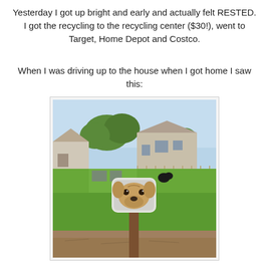Yesterday I got up bright and early and actually felt RESTED. I got the recycling to the recycling center ($30!), went to Target, Home Depot and Costco.
When I was driving up to the house when I got home I saw this:
[Figure (photo): Outdoor photo of a backyard with a green lawn, house in background, trees, and in the foreground a white rectangular container (like a plastic bucket or bin) with a golden dog's face peering out, mounted on a wooden post, with bare dirt at the base.]